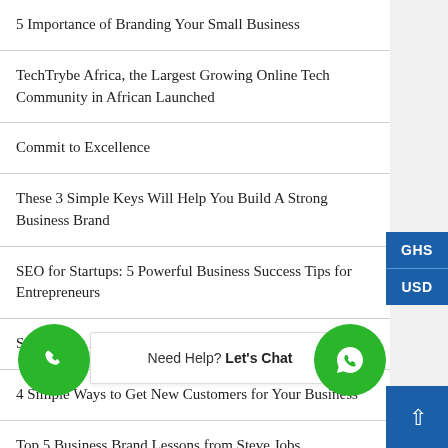5 Importance of Branding Your Small Business
TechTrybe Africa, the Largest Growing Online Tech Community in African Launched
Commit to Excellence
These 3 Simple Keys Will Help You Build A Strong Business Brand
SEO for Startups: 5 Powerful Business Success Tips for Entrepreneurs
So, What Is A Brand?
4 Simple Ways to Get New Customers for Your Business
Top 5 Business Brand Lessons from Steve Jobs
…able SEO Copywriting… (truncated)
How to Turn a Company Around in a Bad Economy